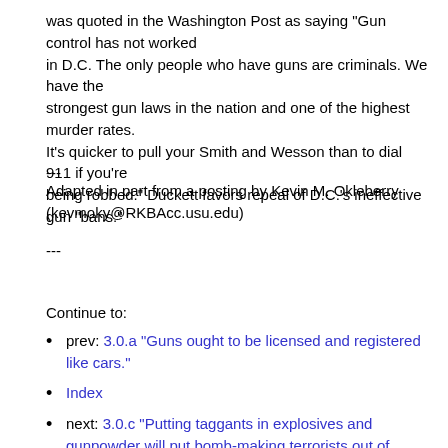was quoted in the Washington Post as saying "Gun control has not worked in D.C. The only people who have guns are criminals. We have the strongest gun laws in the nation and one of the highest murder rates. It's quicker to pull your Smith and Wesson than to dial 911 if you're being robbed." Duckett favors repeal of D.C.'s ineffective gun "bans."
---
Adapted in part from a posting by Kevin M. Okleberry (kevmoky@RKBAcc.usu.edu)
---
Continue to:
prev: 3.0.a "Guns ought to be licensed and registered like cars."
Index
next: 3.0.c "Putting taggants in explosives and gunpowder will put bomb-making terrorists out of business."